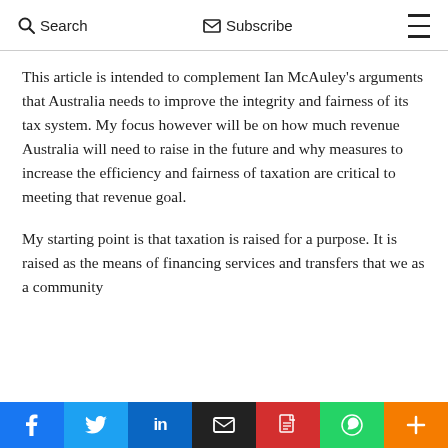Search  Subscribe
This article is intended to complement Ian McAuley's arguments that Australia needs to improve the integrity and fairness of its tax system. My focus however will be on how much revenue Australia will need to raise in the future and why measures to increase the efficiency and fairness of taxation are critical to meeting that revenue goal.
My starting point is that taxation is raised for a purpose. It is raised as the means of financing services and transfers that we as a community